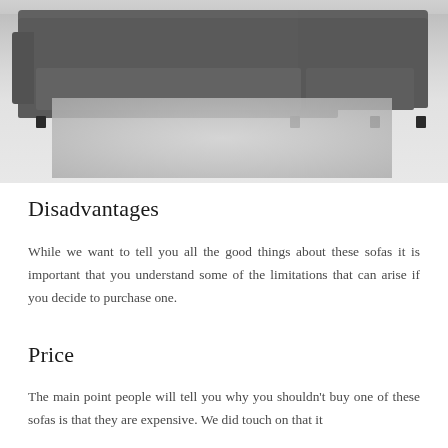[Figure (photo): A large grey sectional sofa with a light grey shag rug in a bright room with light floors]
Disadvantages
While we want to tell you all the good things about these sofas it is important that you understand some of the limitations that can arise if you decide to purchase one.
Price
The main point people will tell you why you shouldn't buy one of these sofas is that they are expensive. We did touch on that it